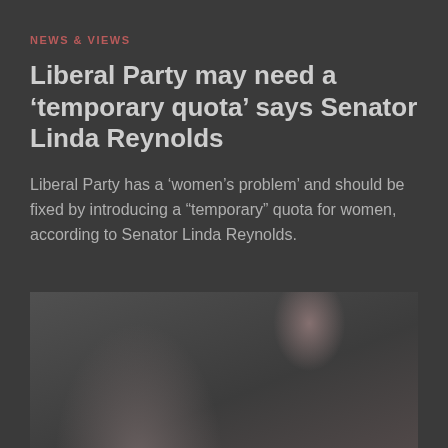NEWS & VIEWS
Liberal Party may need a ‘temporary quota’ says Senator Linda Reynolds
Liberal Party has a ‘women’s problem’ and should be fixed by introducing a “temporary” quota for women, according to Senator Linda Reynolds.
[Figure (photo): Photo of a woman sitting in the driver's seat of a car, smiling, viewed from an angle showing the steering wheel and dashboard.]